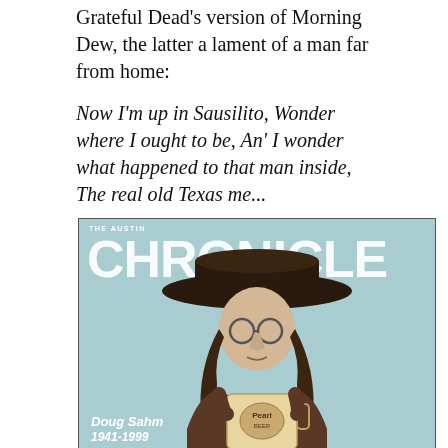Grateful Dead's version of Morning Dew, the latter a lament of a man far from home:
Now I'm up in Sausilito, Wonder where I ought to be, An' I wonder what happened to that man inside, The real old Texas me...
[Figure (photo): Cover of The Austin Chronicle magazine featuring Doug Sahm wearing a large cowboy hat and round glasses, holding a large beer mug, against a light blue background. Text reads 'THE AUSTIN CHRONICLE' at top and 'Doug Sahm 1941-1999' at bottom left.]